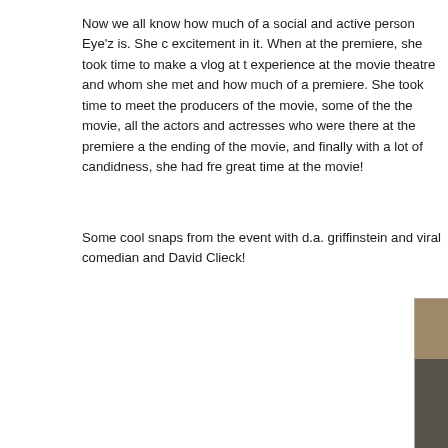Now we all know how much of a social and active person Eye'z is. She c excitement in it. When at the premiere, she took time to make a vlog at t experience at the movie theatre and whom she met and how much of a premiere. She took time to meet the producers of the movie, some of the the movie, all the actors and actresses who were there at the premiere a the ending of the movie, and finally with a lot of candidness, she had fre great time at the movie!
Some cool snaps from the event with d.a. griffinstein and viral comedian and David Clieck!
[Figure (photo): Photo of three people posing together at what appears to be a movie premiere or event venue. A tall man in a black jacket and baseball cap stands on the left, a woman with blonde hair wearing a teal/blue dress is in the center, and a man with dreadlocks wearing a plaid shirt is on the right. There is a staircase visible in the background.]